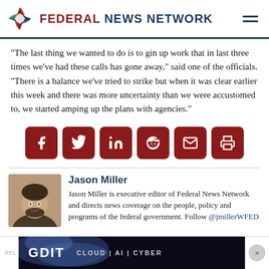FEDERAL NEWS NETWORK
“The last thing we wanted to do is to gin up work that in last three times we’ve had these calls has gone away,” said one of the officials. “There is a balance we’ve tried to strike but when it was clear earlier this week and there was more uncertainty than we were accustomed to, we started amping up the plans with agencies.”
[Figure (infographic): Social sharing buttons: Facebook, Twitter, LinkedIn, Reddit, Email, Print]
Jason Miller
Jason Miller is executive editor of Federal News Network and directs news coverage on the people, policy and programs of the federal government. Follow @jmillerWFED
[Figure (infographic): GDIT advertisement banner: CLOUD | AI | CYBER]